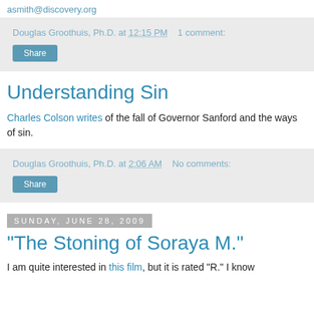asmith@discovery.org
Douglas Groothuis, Ph.D. at 12:15 PM    1 comment:
Share
Understanding Sin
Charles Colson writes of the fall of Governor Sanford and the ways of sin.
Douglas Groothuis, Ph.D. at 2:06 AM    No comments:
Share
Sunday, June 28, 2009
"The Stoning of Soraya M."
I am quite interested in this film, but it is rated "R." I know